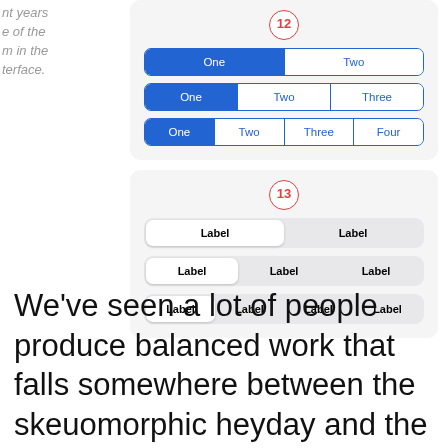nt years e of the m in the terface.
[Figure (screenshot): iOS 12 segmented control with 3 rows: 2-item (One selected/Two), 3-item (One selected/Two/Three), 4-item (One selected/Two/Three/Four). Badge label 12.]
[Figure (screenshot): iOS 13 segmented control with 3 rows: 2-item (Label white selected/Label gray), 3-item (Label/Label/Label), 4-item (Label/Label/Label/Label). Badge label 13.]
We’ve seen a lot of people produce balanced work that falls somewhere between the skeuomorphic heyday and the flat minimalism. Yet, iOS 14 still